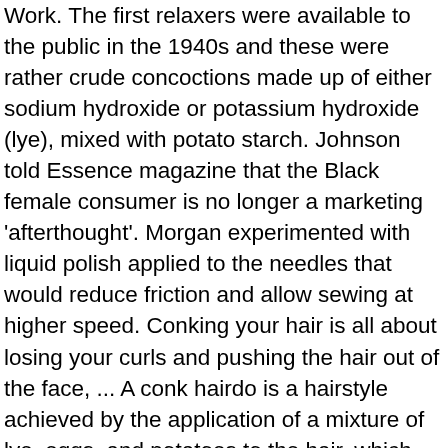Work. The first relaxers were available to the public in the 1940s and these were rather crude concoctions made up of either sodium hydroxide or potassium hydroxide (lye), mixed with potato starch. Johnson told Essence magazine that the Black female consumer is no longer a marketing 'afterthought'. Morgan experimented with liquid polish applied to the needles that would reduce friction and allow sewing at higher speed. Conking your hair is all about losing your curls and pushing the hair out of the face, ... A conk hairdo is a hairstyle achieved by the application of a mixture of lye, eggs, and potatoes to the hair, which causes curled hair to straighten. Explore {{searchView.params.phrase}} by ... The thick cream was combed through the hair and left on for several minutes to take effect. People where looking for more versatility in styling, but the oily and wet look caused by the heavy moisturizing products needed to maintain the Jheri curl look, the way these products stained a person's collars and clothes, plus with the lengthy time needed to have one's hair styled in this manner, the Jheri curl hair style fell out of favor over time. These Conditioning Relaxers treated and repaired the shaft of the hair, but to also provide definition to the...